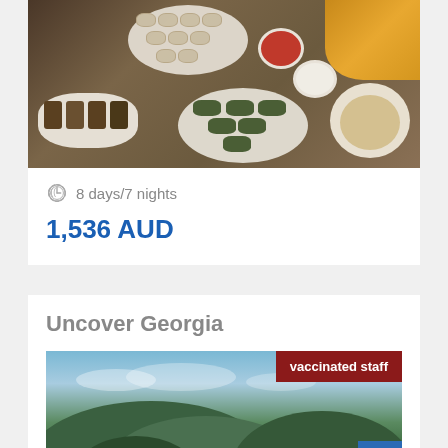[Figure (photo): Overhead shot of Georgian food spread including dumplings (khinkali), dolma (stuffed grape leaves), khachapuri bread, red sauce, white sauce, sushi-style rolls, and soup bowl on a wooden table]
8 days/7 nights
1,536 AUD
Uncover Georgia
[Figure (photo): Aerial landscape view of green rolling hills and mountains in Georgia, with a city visible in the distance. Red banner with 'vaccinated staff' text in top right corner. Blue email button in bottom right corner.]